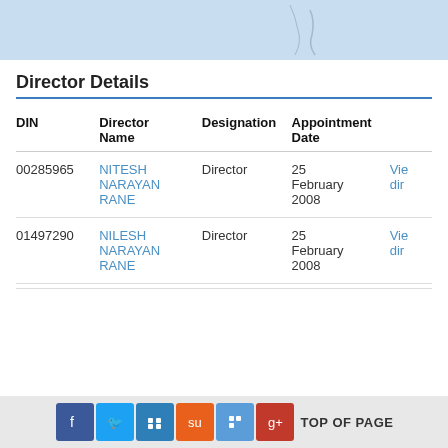[Figure (map): Partial map screenshot showing a geographic region with light blue background]
Director Details
| DIN | Director Name | Designation | Appointment Date |  |
| --- | --- | --- | --- | --- |
| 00285965 | NITESH NARAYAN RANE | Director | 25 February 2008 | Vie... dir... |
| 01497290 | NILESH NARAYAN RANE | Director | 25 February 2008 | Vie... dir... |
TOP OF PAGE